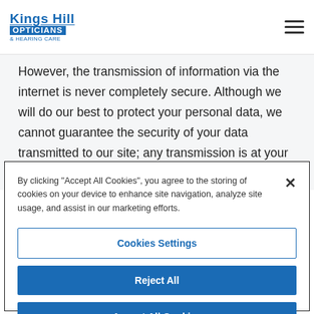Kings Hill Opticians & Hearing Care
However, the transmission of information via the internet is never completely secure. Although we will do our best to protect your personal data, we cannot guarantee the security of your data transmitted to our site; any transmission is at your own risk.
By clicking “Accept All Cookies”, you agree to the storing of cookies on your device to enhance site navigation, analyze site usage, and assist in our marketing efforts.
Cookies Settings
Reject All
Accept All Cookies